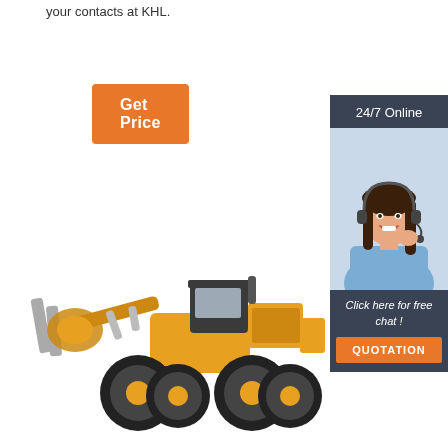your contacts at KHL.
Get Price
24/7 Online
[Figure (photo): Woman with headset, smiling, customer service representative photo]
Click here for free chat !
QUOTATION
[Figure (photo): Yellow construction wheel loader with log grapple attachment, isolated on white background]